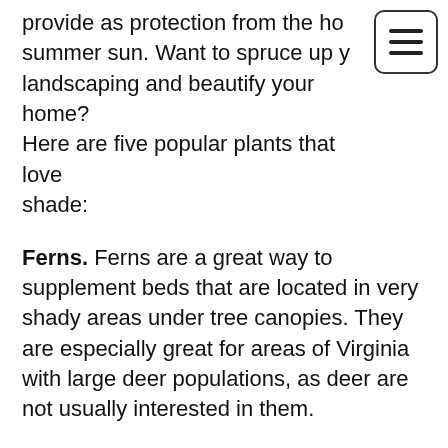provide as protection from the ho summer sun. Want to spruce up y landscaping and beautify your home? Here are five popular plants that love shade:
Ferns. Ferns are a great way to supplement beds that are located in very shady areas under tree canopies. They are especially great for areas of Virginia with large deer populations, as deer are not usually interested in them.
Hostas. If you're looking to add some color variety to your landscaping, but don't want to fill it with flowering shrubs that aren't always in bloom, the hosta has beautiful foliage that